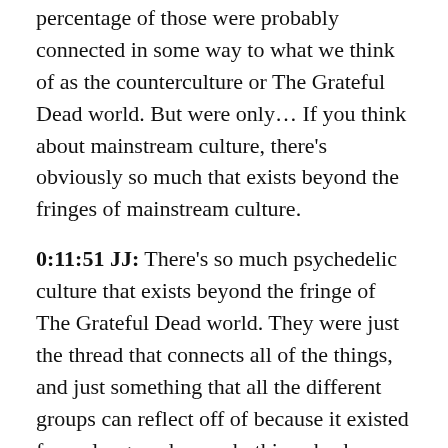percentage of those were probably connected in some way to what we think of as the counterculture or The Grateful Dead world. But were only… If you think about mainstream culture, there's obviously so much that exists beyond the fringes of mainstream culture.
0:11:51 JJ: There's so much psychedelic culture that exists beyond the fringe of The Grateful Dead world. They were just the thread that connects all of the things, and just something that all the different groups can reflect off of because it existed for so long, and as such, this unbroken thing. And still does to a large degree, still… The Dead world is still massive, give or take The Dead themselves.
0:12:15 PA: And I know, I'm from West Michigan so I know The Grateful Dead will still play. The closest one